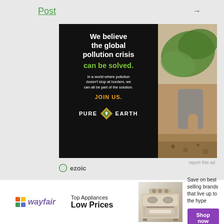Post →
[Figure (illustration): Pure Earth advertisement on black background with text: We believe the global pollution crisis can be solved. In a world where pollution doesn't stop at borders, we can all be part of the solution. JOIN US. PURE EARTH logo. Right side shows a person planting a tree outdoors.]
report this ad
ezoic
[Figure (illustration): Wayfair advertisement banner: Top Appliances Low Prices. Save on best selling brands that live up to the hype. Shop now button. Shows image of a stove/range appliance.]